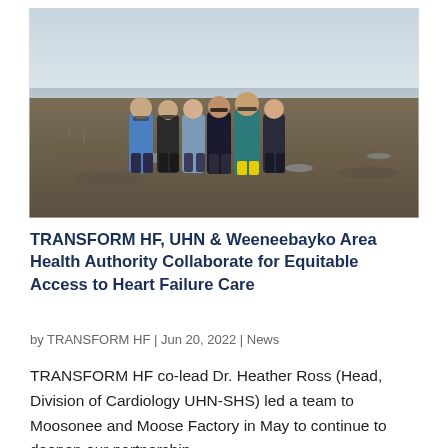[Figure (photo): Group of six people standing outdoors in an open tundra/wetland landscape under an overcast sky. The individuals are dressed in jackets and outdoor gear; one person on the right is wearing yellow rubber boots.]
TRANSFORM HF, UHN & Weeneebayko Area Health Authority Collaborate for Equitable Access to Heart Failure Care
by TRANSFORM HF | Jun 20, 2022 | News
TRANSFORM HF co-lead Dr. Heather Ross (Head, Division of Cardiology UHN-SHS) led a team to Moosonee and Moose Factory in May to continue to deepen our partnership...